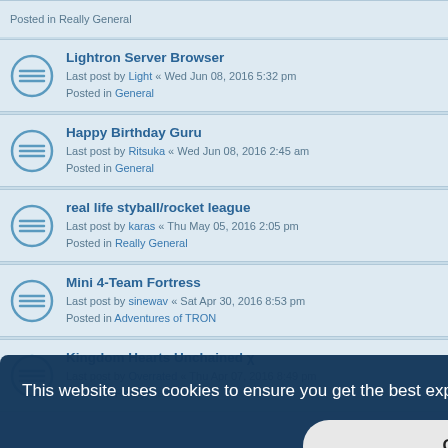Posted in Really General
Lightron Server Browser
Last post by Light « Wed Jun 08, 2016 5:32 pm
Posted in General
Happy Birthday Guru
Last post by Ritsuka « Wed Jun 08, 2016 2:45 am
Posted in General
real life styball/rocket league
Last post by karas « Thu May 05, 2016 2:05 pm
Posted in Really General
Mini 4-Team Fortress
Last post by sinewav « Sat Apr 30, 2016 8:53 pm
Posted in Adventures of TRON
Kingdom Hearts Unchained χ
Last post by Overrated « Thu Apr 07, 2016 8:49 pm
Posted in Really General
This website uses cookies to ensure you get the best experience on our website. Learn more
Got it!